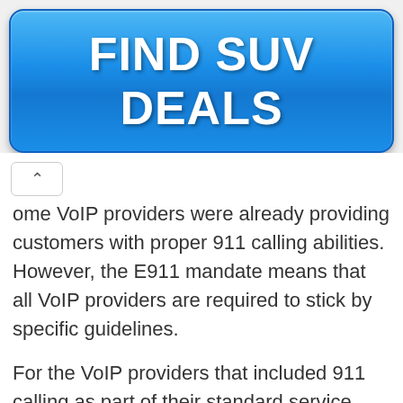[Figure (other): Blue gradient button with bold white text reading FIND SUV DEALS]
ome VoIP providers were already providing customers with proper 911 calling abilities. However, the E911 mandate means that all VoIP providers are required to stick by specific guidelines.
For the VoIP providers that included 911 calling as part of their standard service, there won't be too much for them to change. However, VoIP providers that either didn't include 911 calling as a mandatory service or didn't make customers aware that they had to activate it, will have to make more changes.
These VoIP providers must stick to the E911 mandates while also trying to keep their costs in check. They have to also make sure to continue providing their customers with VoIP services while implementing new